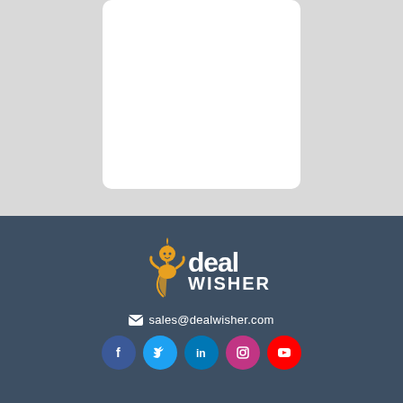[Figure (other): White rounded card on light grey background in upper half of page]
[Figure (logo): DealWisher logo: golden genie figure with white text 'deal WISHER' on dark blue-grey background]
sales@dealwisher.com
[Figure (other): Social media icons row: Facebook (blue), Twitter (light blue), LinkedIn (blue), Instagram (pink), YouTube (red)]